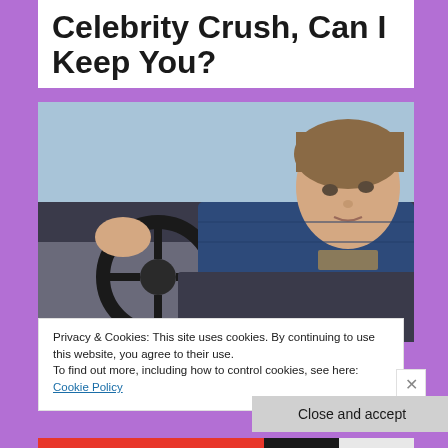Celebrity Crush, Can I Keep You?
[Figure (photo): Young male celebrity sitting in a car, holding the steering wheel, wearing a blue denim jacket, looking at the camera over his shoulder]
Privacy & Cookies: This site uses cookies. By continuing to use this website, you agree to their use.
To find out more, including how to control cookies, see here: Cookie Policy
Close and accept